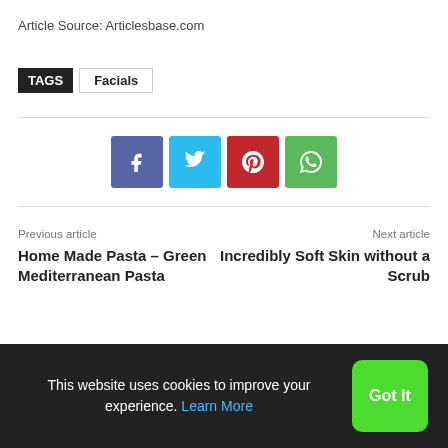Article Source: Articlesbase.com
TAGS  Facials
[Figure (infographic): Social share buttons: Facebook (blue), Twitter (cyan), Pinterest (red), WhatsApp (green)]
Previous article
Home Made Pasta – Green Mediterranean Pasta
Next article
Incredibly Soft Skin without a Scrub
This website uses cookies to improve your experience. Learn More
Got It